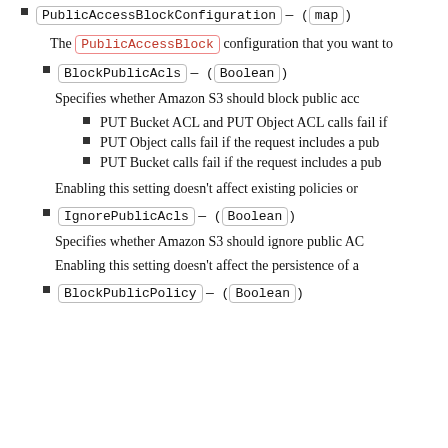PublicAccessBlockConfiguration — (map)
The PublicAccessBlock configuration that you want to
BlockPublicAcls — (Boolean)
Specifies whether Amazon S3 should block public acc
PUT Bucket ACL and PUT Object ACL calls fail if
PUT Object calls fail if the request includes a pub
PUT Bucket calls fail if the request includes a pub
Enabling this setting doesn't affect existing policies or
IgnorePublicAcls — (Boolean)
Specifies whether Amazon S3 should ignore public AC
Enabling this setting doesn't affect the persistence of a
BlockPublicPolicy — (Boolean)